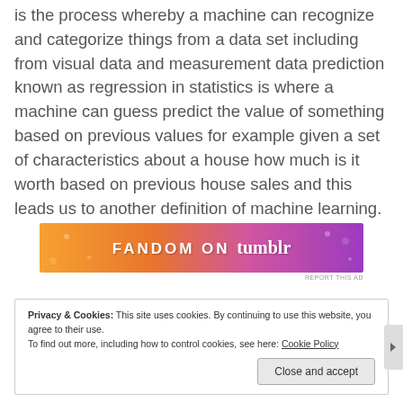is the process whereby a machine can recognize and categorize things from a data set including from visual data and measurement data prediction known as regression in statistics is where a machine can guess predict the value of something based on previous values for example given a set of characteristics about a house how much is it worth based on previous house sales and this leads us to another definition of machine learning.
[Figure (other): Fandom on Tumblr advertisement banner with gradient orange-to-purple background]
Privacy & Cookies: This site uses cookies. By continuing to use this website, you agree to their use. To find out more, including how to control cookies, see here: Cookie Policy